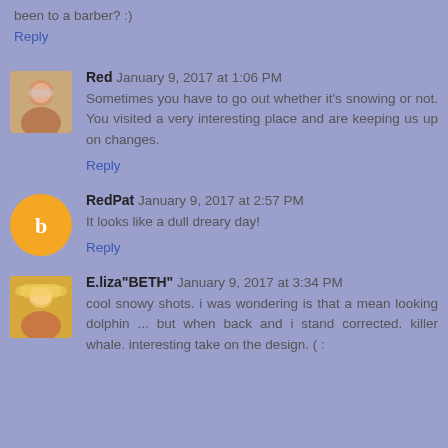been to a barber? :)
Reply
Red January 9, 2017 at 1:06 PM
Sometimes you have to go out whether it's snowing or not. You visited a very interesting place and are keeping us up on changes.
Reply
RedPat January 9, 2017 at 2:57 PM
It looks like a dull dreary day!
Reply
E.liza"BETH" January 9, 2017 at 3:34 PM
cool snowy shots. i was wondering is that a mean looking dolphin ... but when back and i stand corrected. killer whale. interesting take on the design. ( :